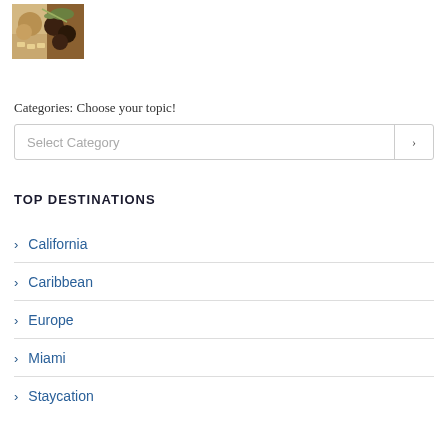[Figure (photo): A photo of food — appears to show pasta or macaroni with dark meat or mushrooms and herbs on top]
Categories: Choose your topic!
Select Category
TOP DESTINATIONS
California
Caribbean
Europe
Miami
Staycation